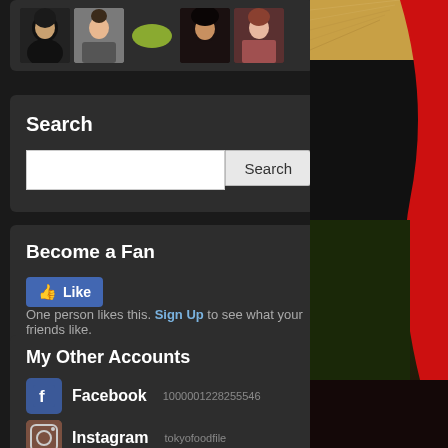[Figure (screenshot): Row of 5 user avatar thumbnails in a dark rounded panel]
Search
Search input box with Search button
Become a Fan
Like button. One person likes this. Sign Up to see what your friends like.
My Other Accounts
Facebook  1000001228255546
Instagram  tokyofoodfile
Twitter  tokyofoodfile
[Figure (photo): Close-up photo of a dark object with red curved edge against a gold/tan background, right column]